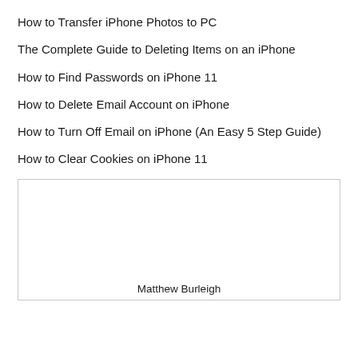How to Transfer iPhone Photos to PC
The Complete Guide to Deleting Items on an iPhone
How to Find Passwords on iPhone 11
How to Delete Email Account on iPhone
How to Turn Off Email on iPhone (An Easy 5 Step Guide)
How to Clear Cookies on iPhone 11
[Figure (other): A boxed area with a person's name 'Matthew Burleigh' at the bottom]